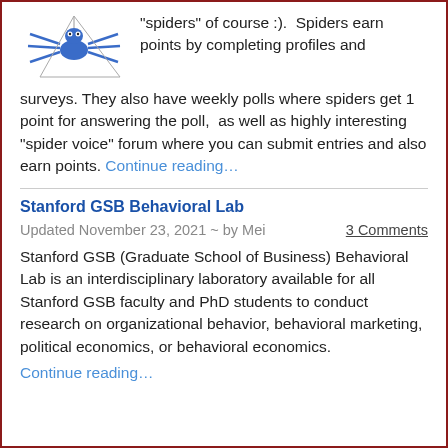[Figure (illustration): Blue cartoon spider illustration on white background]
“spiders” of course :).  Spiders earn points by completing profiles and surveys. They also have weekly polls where spiders get 1 point for answering the poll,  as well as highly interesting “spider voice” forum where you can submit entries and also earn points. Continue reading…
Stanford GSB Behavioral Lab
Updated November 23, 2021 ~ by Mei
3 Comments
Stanford GSB (Graduate School of Business) Behavioral Lab is an interdisciplinary laboratory available for all Stanford GSB faculty and PhD students to conduct research on organizational behavior, behavioral marketing, political economics, or behavioral economics. Continue reading…